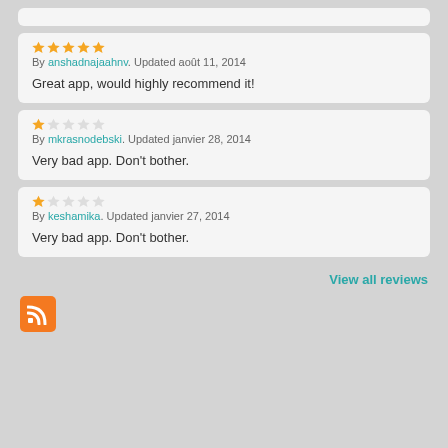By anshadnajaahnv. Updated août 11, 2014
Great app, would highly recommend it!
By mkrasnodebski. Updated janvier 28, 2014
Very bad app. Don't bother.
By keshamika. Updated janvier 27, 2014
Very bad app. Don't bother.
View all reviews